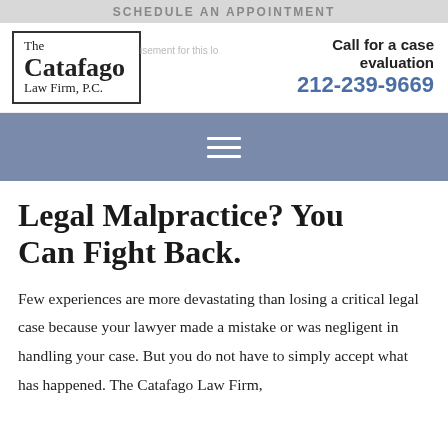SCHEDULE AN APPOINTMENT
[Figure (logo): The Catafago Law Firm, P.C. logo in a bordered box]
Call for a case evaluation 212-239-9669
[Figure (other): Navigation hamburger menu icon on slate-blue bar]
Legal Malpractice? You Can Fight Back.
Few experiences are more devastating than losing a critical legal case because your lawyer made a mistake or was negligent in handling your case. But you do not have to simply accept what has happened. The Catafago Law Firm,